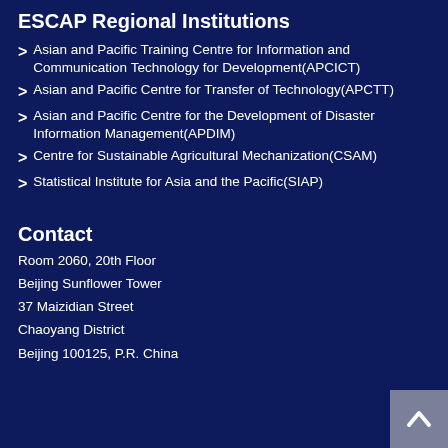ESCAP Regional Institutions
Asian and Pacific Training Centre for Information and Communication Technology for Development(APCICT)
Asian and Pacific Centre for Transfer of Technology(APCTT)
Asian and Pacific Centre for the Development of Disaster Information Management(APDIM)
Centre for Sustainable Agricultural Mechanization(CSAM)
Statistical Institute for Asia and the Pacific(SIAP)
Contact
Room 2060, 20th Floor
Beijing Sunflower Tower
37 Maizidian Street
Chaoyang District
Beijing 100125, P.R. China